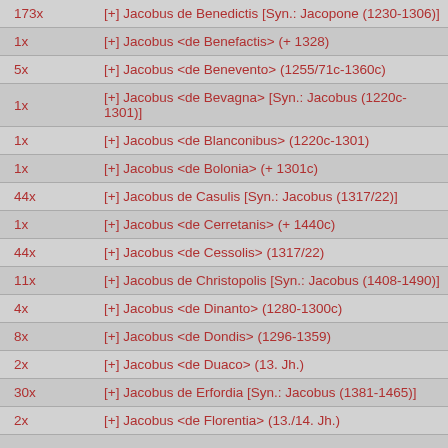| Count | Entry |
| --- | --- |
| 173x | [+] Jacobus de Benedictis [Syn.: Jacopone (1230-1306)] |
| 1x | [+] Jacobus <de Benefactis> (+ 1328) |
| 5x | [+] Jacobus <de Benevento> (1255/71c-1360c) |
| 1x | [+] Jacobus <de Bevagna> [Syn.: Jacobus (1220c-1301)] |
| 1x | [+] Jacobus <de Blanconibus> (1220c-1301) |
| 1x | [+] Jacobus <de Bolonia> (+ 1301c) |
| 44x | [+] Jacobus de Casulis [Syn.: Jacobus (1317/22)] |
| 1x | [+] Jacobus <de Cerretanis> (+ 1440c) |
| 44x | [+] Jacobus <de Cessolis> (1317/22) |
| 11x | [+] Jacobus de Christopolis [Syn.: Jacobus (1408-1490)] |
| 4x | [+] Jacobus <de Dinanto> (1280-1300c) |
| 8x | [+] Jacobus <de Dondis> (1296-1359) |
| 2x | [+] Jacobus <de Duaco> (13. Jh.) |
| 30x | [+] Jacobus de Erfordia [Syn.: Jacobus (1381-1465)] |
| 2x | [+] Jacobus <de Florentia> (13./14. Jh.) |